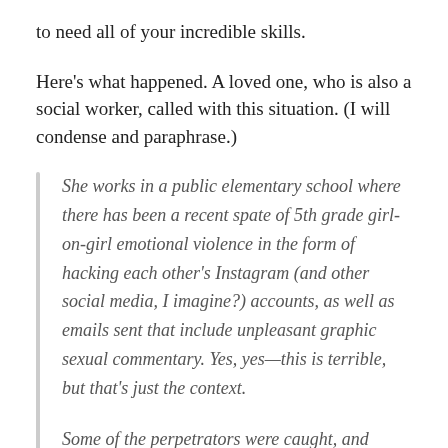to need all of your incredible skills.
Here's what happened. A loved one, who is also a social worker, called with this situation. (I will condense and paraphrase.)
She works in a public elementary school where there has been a recent spate of 5th grade girl-on-girl emotional violence in the form of hacking each other's Instagram (and other social media, I imagine?) accounts, as well as emails sent that include unpleasant graphic sexual commentary. Yes, yes—this is terrible, but that's just the context.
Some of the perpetrators were caught, and brought